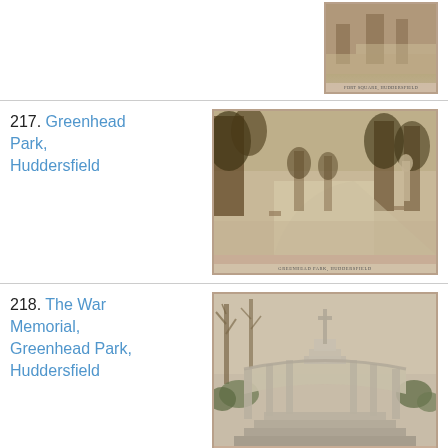[Figure (photo): Partial view of a sepia-toned postcard showing a street scene, Huddersfield, top-right corner of page]
217. Greenhead Park, Huddersfield
[Figure (photo): Sepia-toned postcard photograph of Greenhead Park, Huddersfield — tree-lined avenue with a path and open park grounds, caption reads GREENHEAD PARK HUDDERSFIELD]
218. The War Memorial, Greenhead Park, Huddersfield
[Figure (photo): Sepia-toned postcard photograph of The War Memorial at Greenhead Park, Huddersfield — tall cross monument on a stepped colonnade structure, caption reads THE WAR MEMORIAL GREENHEAD PARK HUDDERSFIELD]